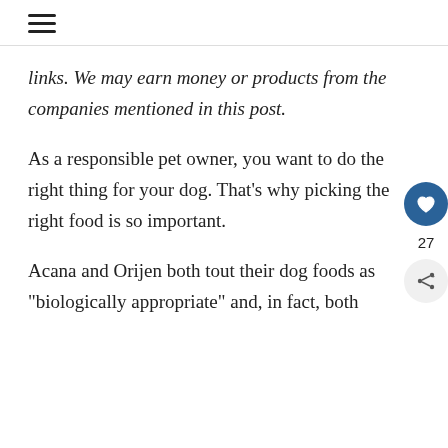≡
links. We may earn money or products from the companies mentioned in this post.
As a responsible pet owner, you want to do the right thing for your dog. That’s why picking the right food is so important.
Acana and Orijen both tout their dog foods as “biologically appropriate” and, in fact, both